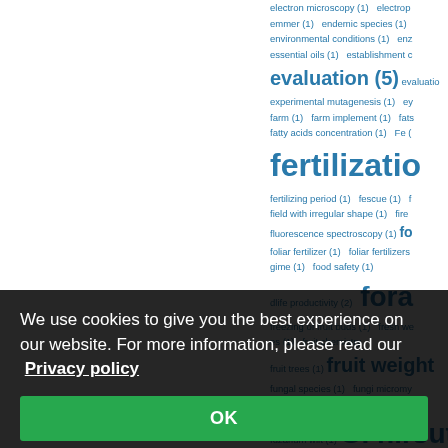[Figure (other): Tag cloud of scientific keywords with frequency counts, partially overlaid by cookie consent banner. Keywords include: electron microscopy (1), electrop..., emmer (1), endemic species (1), environmental conditions (1), enz..., essential oils (1), establishment c..., evaluation (5), evaluation..., experimental mutagenesis (1), ey..., farm (1), farm implement (1), fats..., fatty acids concentration (1), Fe (...), fertilization, fertilizing period (1), fescue (1), f..., field with irregular shape (1), fire..., fluorescence spectroscopy (1), fo..., foliar fertilizer (1), foliar fertilizers..., ...gime (1), food safety (1), ...dlife productivity (2), fora..., freezing of fruit buds (1), fresh we..., ...es (1), fruit chemistry..., fruit trees (1), fruit weight, fungal species (1), fungi micromy..., Fusarium (2), Fusarium culmoru..., fuzarium wilt (1), G. hirsutum..., gene pool (1), general combining..., genetic diversity (2)]
We use cookies to give you the best experience on our website. For more information, please read our Privacy policy